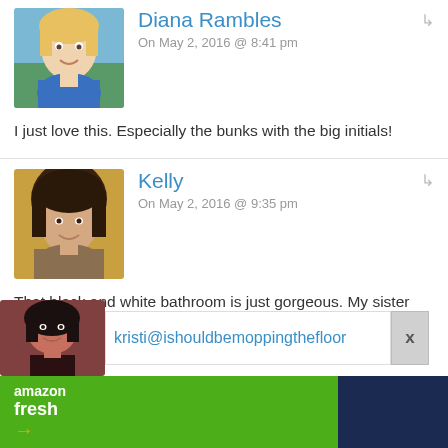[Figure (photo): Avatar photo of Diana Rambles, woman with blonde hair outdoors]
Diana Rambles
On May 2, 2016 @ 8:41 pm
I just love this. Especially the bunks with the big initials!
[Figure (photo): Avatar photo of Kelly, woman with dark hair]
Kelly
On May 2, 2016 @ 9:35 pm
That black and white bathroom is just gorgeous. My sister did something similar, but with the boldest red you've ever seen – it doesn't sound like it would work, but it totally did.
[Figure (photo): Avatar photo of Kristi, woman with dark hair]
kristi@ishouldbemoppingthefloor
[Figure (screenshot): Amazon Fresh advertisement banner, green background with navy right panel]